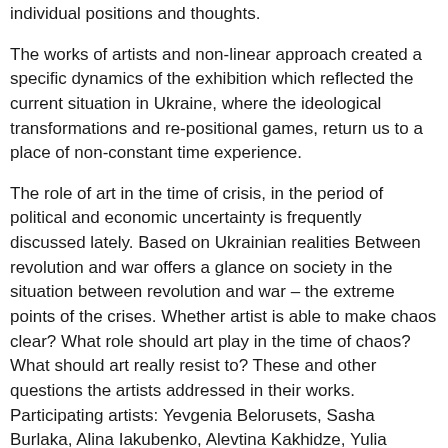individual positions and thoughts.
The works of artists and non-linear approach created a specific dynamics of the exhibition which reflected the current situation in Ukraine, where the ideological transformations and re-positional games, return us to a place of non-constant time experience.
The role of art in the time of crisis, in the period of political and economic uncertainty is frequently discussed lately. Based on Ukrainian realities Between revolution and war offers a glance on society in the situation between revolution and war – the extreme points of the crises. Whether artist is able to make chaos clear? What role should art play in the time of chaos? What should art really resist to? These and other questions the artists addressed in their works. Participating artists: Yevgenia Belorusets, Sasha Burlaka, Alina Iakubenko, Alevtina Kakhidze, Yulia Kostereva, Yuriy Kruchak, Sasha Kurmaz, Ivan Melnichuk, Oleksiy Radynski. Curators: Yuriy Kruchak, Yulia Kostereva